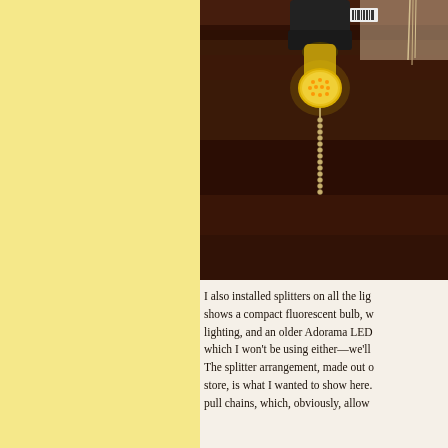[Figure (photo): Close-up photo of a ceiling light fixture with a glowing yellow LED/CFL bulb, a metal pull chain hanging down, and dark wooden ceiling beams in the background.]
I also installed splitters on all the lig... shows a compact fluorescent bulb, w... lighting, and an older Adorama LED... which I won't be using either—we'll... The splitter arrangement, made out o... store, is what I wanted to show here.... pull chains, which, obviously, allow...